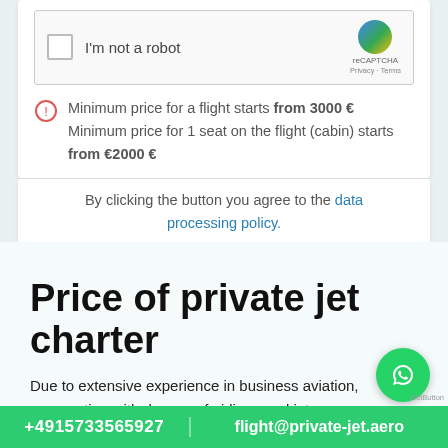[Figure (screenshot): reCAPTCHA checkbox widget with 'I'm not a robot' text and reCAPTCHA logo]
Minimum price for a flight starts from 3000 €
Minimum price for 1 seat on the flight (cabin) starts from €2000 €
By clicking the button you agree to the data processing policy.
Price of private jet charter
Due to extensive experience in business aviation, cooperation with dozens of airlines and jet owners, smooth logistics, we can offer our customers the most favoura are the
+4915733565927   flight@private-jet.aero